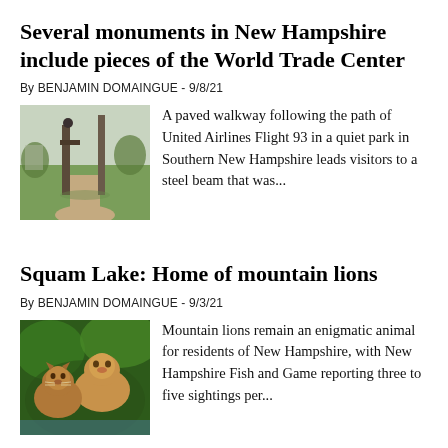Several monuments in New Hampshire include pieces of the World Trade Center
By BENJAMIN DOMAINGUE - 9/8/21
[Figure (photo): Outdoor monument with tall wooden or metal posts on a grassy park path]
A paved walkway following the path of United Airlines Flight 93 in a quiet park in Southern New Hampshire leads visitors to a steel beam that was...
Squam Lake: Home of mountain lions
By BENJAMIN DOMAINGUE - 9/3/21
[Figure (photo): Two mountain lions in a green forested setting]
Mountain lions remain an enigmatic animal for residents of New Hampshire, with New Hampshire Fish and Game reporting three to five sightings per...